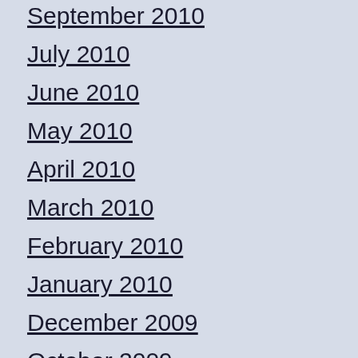September 2010
July 2010
June 2010
May 2010
April 2010
March 2010
February 2010
January 2010
December 2009
October 2009
August 2009
June 2009
February 2009
January 2009